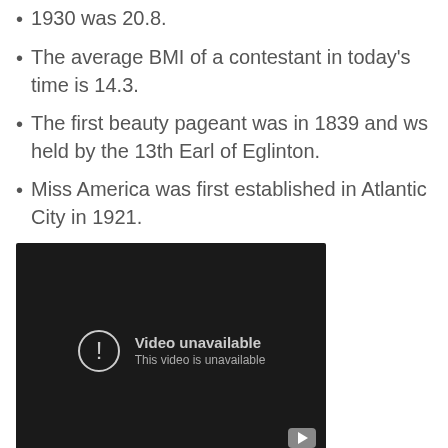1930 was 20.8.
The average BMI of a contestant in today's time is 14.3.
The first beauty pageant was in 1839 and ws held by the 13th Earl of Eglinton.
Miss America was first established in Atlantic City in 1921.
[Figure (screenshot): Embedded video player showing 'Video unavailable - This video is unavailable' message on a dark background with a YouTube play button icon in the bottom right corner.]